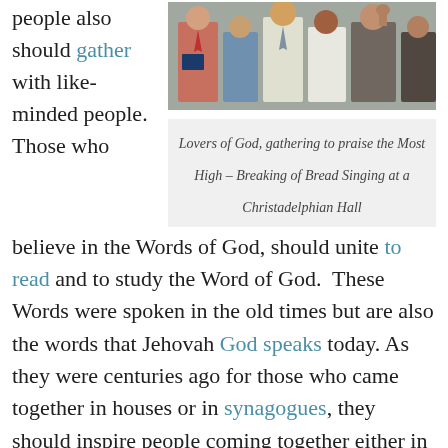people also should gather with like-minded people. Those who
[Figure (photo): Group of people gathered together, some holding books, at what appears to be a religious gathering]
Lovers of God, gathering to praise the Most High – Breaking of Bread Singing at a Christadelphian Hall
believe in the Words of God, should unite to read and to study the Word of God.  These Words were spoken in the old times but are also the words that Jehovah God speaks today. As they were centuries ago for those who came together in houses or in synagogues, they should inspire people coming together either in their own houses, special meeting places, synagogues or churches. Like there were whole congregations at different places, we should share the Word of God in communities also all over the world. In those houses, ecclesiae, all should